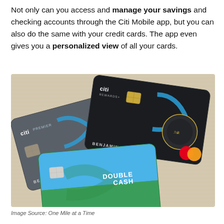Not only can you access and manage your savings and checking accounts through the Citi Mobile app, but you can also do the same with your credit cards. The app even gives you a personalized view of all your cards.
[Figure (photo): Three Citi credit cards fanned out on a textured surface: Citi Premier (dark gray), Citi Rewards+ (black), and Citi Double Cash (green/blue). All cards show the name BENJAMIN J SCHLAPPIG.]
Image Source: One Mile at a Time